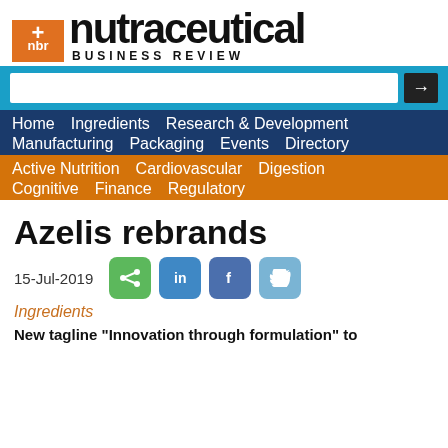[Figure (logo): nbr Nutraceutical Business Review logo with orange cross/plus and NBR box]
[Figure (screenshot): Website navigation with search bar, blue nav bar (Home, Ingredients, Research & Development, Manufacturing, Packaging, Events, Directory) and orange nav bar (Active Nutrition, Cardiovascular, Digestion, Cognitive, Finance, Regulatory)]
Azelis rebrands
15-Jul-2019
Ingredients
New tagline "Innovation through formulation" to